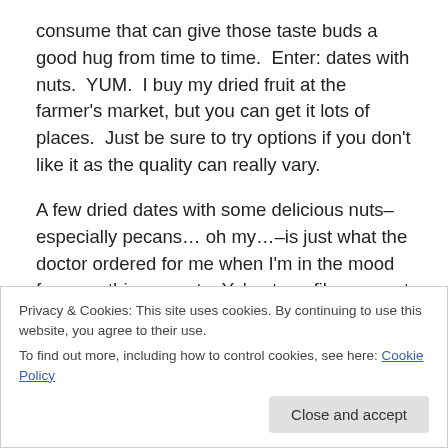consume that can give those taste buds a good hug from time to time.  Enter: dates with nuts.  YUM.  I buy my dried fruit at the farmer's market, but you can get it lots of places.  Just be sure to try options if you don't like it as the quality can really vary.
A few dried dates with some delicious nuts–especially pecans… oh my…–is just what the doctor ordered for me when I'm in the mood for something sweet.   Ya' got yer fiber, ya got yer protein, ya got yer vitamins.  Another combo I like is cashews with craisins.  Yum-oh.
Privacy & Cookies: This site uses cookies. By continuing to use this website, you agree to their use.
To find out more, including how to control cookies, see here: Cookie Policy